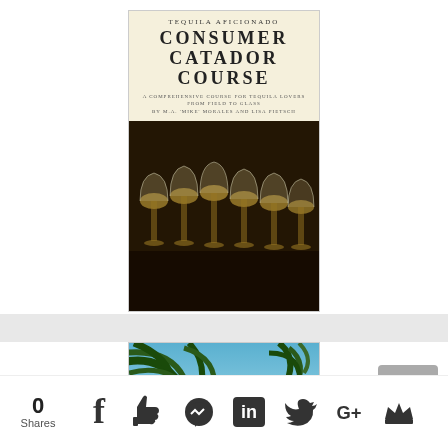[Figure (photo): Book cover for 'Tequila Aficionado Consumer Catador Course — A Comprehensive Course for Tequila Lovers from Field to Glass' by M.A. 'Mike' Morales and Lisa Pietsch, showing rows of tequila glasses on a dark table]
[Figure (photo): Partial view of a second book or article image showing palm trees against a blue sky, with the beginning of text 'HOW TO GET PAID' visible at the bottom]
0 Shares